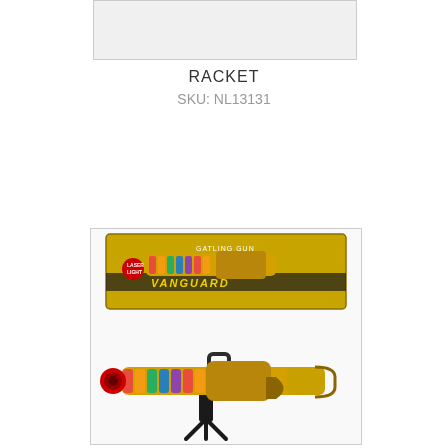[Figure (photo): Top partial product image placeholder, light grey rectangle]
RACKET
SKU: NL13131
Add to basket
[Figure (photo): Product photo showing a golden toy gatling gun (Vanguard) with colorful lights on a tripod stand, shown with its box packaging above]